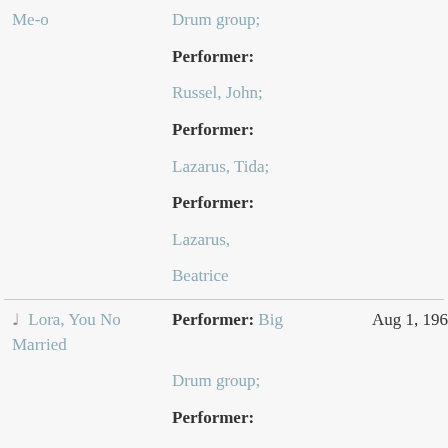| Title | Contributors | Date | Track |
| --- | --- | --- | --- |
| Me-o | Drum group;
Performer:
Russel, John;
Performer:
Lazarus, Tida;
Performer:
Lazarus, Beatrice |  |  |
| ♩ Lora, You No Married | Performer: Big Drum group;
Performer:
Russel, John;
Performer:
Lazarus, Tida;
Performer: | Aug 1, 1962 | 5 |